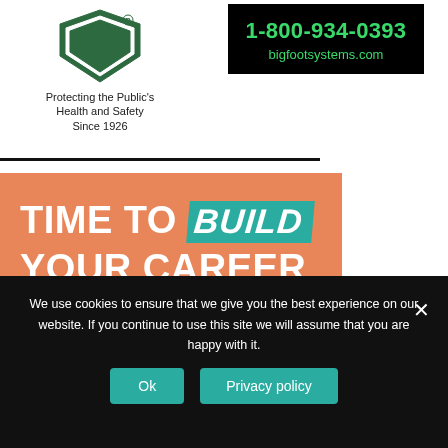[Figure (logo): NRCA shield logo with green and white design]
Protecting the Public's Health and Safety Since 1926
[Figure (logo): Bigfoot Systems contact info box - black background with green text showing 1-800-934-0393 and bigfootsystems.com]
1-800-934-0393
bigfootsystems.com
[Figure (illustration): Orange promotional banner with TIME TO BUILD YOUR CAREER headline and subtext about energy performance standards and building code requirements]
TIME TO BUILD YOUR CAREER
Stay up-to-date on energy performance standards and building code requirements.
We use cookies to ensure that we give you the best experience on our website. If you continue to use this site we will assume that you are happy with it.